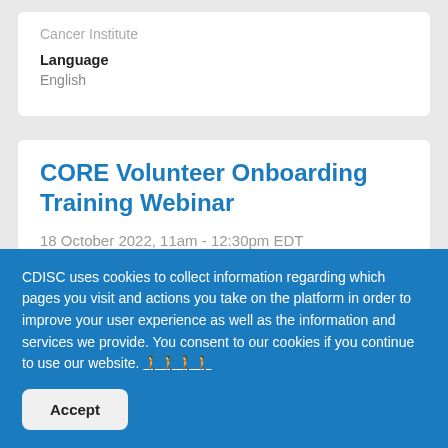Cancer Institute
Language
English
CORE Volunteer Onboarding Training Webinar
18 October 2022, 11am - 12:30pm EDT
REGISTER NOW!
CDISC uses cookies to collect information regarding which pages you visit and actions you take on the platform in order to improve your user experience as well as the information and services we provide. You consent to our cookies if you continue to use our website. ☣☣☣☣
Accept